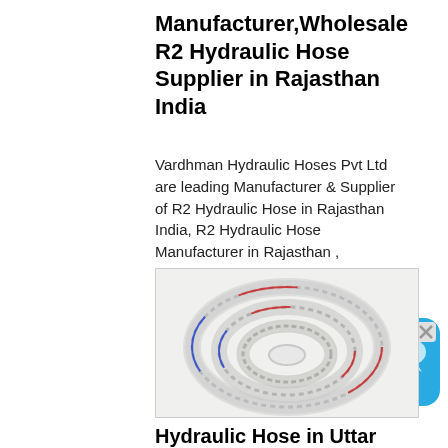Manufacturer,Wholesale R2 Hydraulic Hose Supplier in Rajasthan India
Vardhman Hydraulic Hoses Pvt Ltd are leading Manufacturer & Supplier of R2 Hydraulic Hose in Rajasthan India, R2 Hydraulic Hose Manufacturer in Rajasthan , Wholesale R2 Hydraulic Hose
[Figure (photo): Coiled transparent hydraulic hose with metal wire reinforcement and red/blue stripe markings]
Hydraulic Hose in Uttar pradesh - Manufacturers and Suppliers India